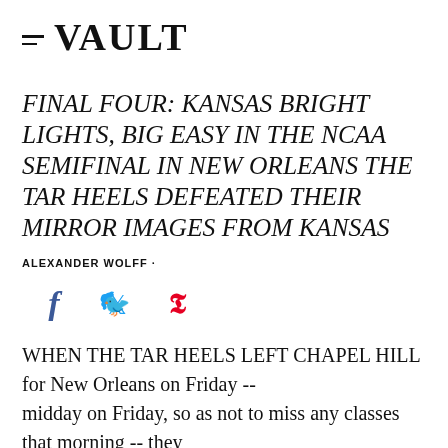≡ VAULT
FINAL FOUR: KANSAS BRIGHT LIGHTS, BIG EASY IN THE NCAA SEMIFINAL IN NEW ORLEANS THE TAR HEELS DEFEATED THEIR MIRROR IMAGES FROM KANSAS
ALEXANDER WOLFF ·
[Figure (other): Social media share icons: Facebook (f), Twitter (bird), Pinterest (p)]
WHEN THE TAR HEELS LEFT CHAPEL HILL for New Orleans on Friday -- midday on Friday, so as not to miss any classes that morning -- they